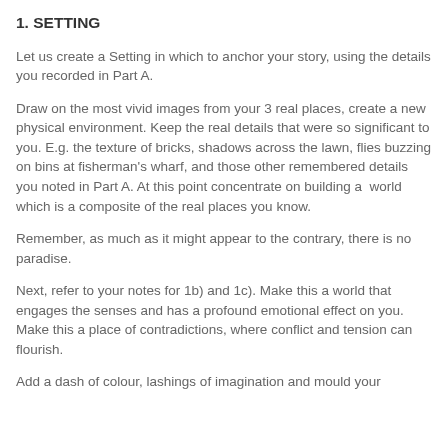1. SETTING
Let us create a Setting in which to anchor your story, using the details you recorded in Part A.
Draw on the most vivid images from your 3 real places, create a new physical environment. Keep the real details that were so significant to you. E.g. the texture of bricks, shadows across the lawn, flies buzzing on bins at fisherman's wharf, and those other remembered details you noted in Part A. At this point concentrate on building a  world which is a composite of the real places you know.
Remember, as much as it might appear to the contrary, there is no paradise.
Next, refer to your notes for 1b) and 1c). Make this a world that engages the senses and has a profound emotional effect on you. Make this a place of contradictions, where conflict and tension can flourish.
Add a dash of colour, lashings of imagination and mould your